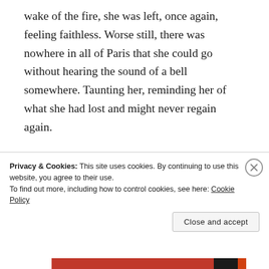wake of the fire, she was left, once again, feeling faithless. Worse still, there was nowhere in all of Paris that she could go without hearing the sound of a bell somewhere. Taunting her, reminding her of what she had lost and might never regain again.
Forced to tide herself over with a soul-sucking job — something Marguerite had told her...
Privacy & Cookies: This site uses cookies. By continuing to use this website, you agree to their use.
To find out more, including how to control cookies, see here: Cookie Policy
Close and accept